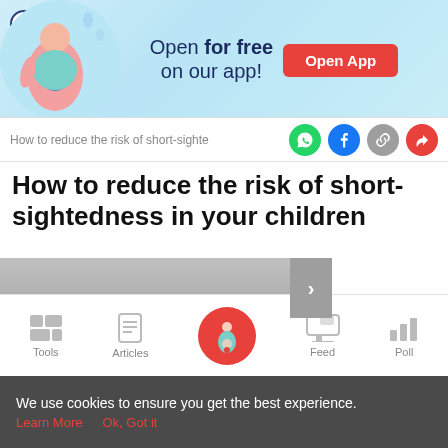[Figure (screenshot): App promotion banner with light blue background, pregnancy illustration on left, 'Open for free on our app!' text in center, red 'Open App' button on right, X close button top-left]
How to reduce the risk of short-sighte
How to reduce the risk of short-sightedness in your children
[Figure (screenshot): Media area with gray gradient on left, navigation arrow button, and black video/image area on right]
[Figure (screenshot): Bottom navigation bar with Tools, Articles, center pink pregnancy icon, Feed, and Poll buttons]
We use cookies to ensure you get the best experience. Learn More  Ok, Got it